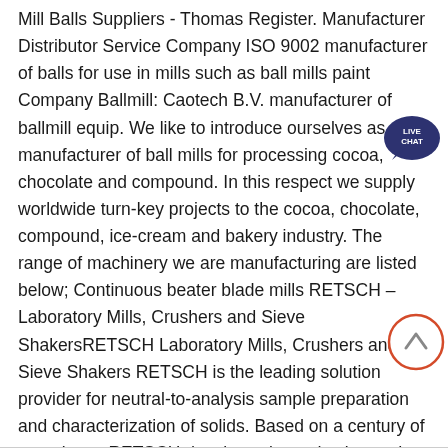Mill Balls Suppliers - Thomas Register. Manufacturer Distributor Service Company ISO 9002 manufacturer of balls for use in mills such as ball mills paint Company Ballmill: Caotech B.V. manufacturer of ballmill equip. We like to introduce ourselves as a manufacturer of ball mills for processing cocoa, chocolate and compound. In this respect we supply worldwide turn-key projects to the cocoa, chocolate, compound, ice-cream and bakery industry. The range of machinery we are manufacturing are listed below; Continuous beater blade mills RETSCH – Laboratory Mills, Crushers and Sieve ShakersRETSCH Laboratory Mills, Crushers and Sieve Shakers RETSCH is the leading solution provider for neutral-to-analysis sample preparation and characterization of solids. Based on a century of experience RETSCH develops size reduction and sieving equipment which is characterized by excellent performance, operating convenience, safety and a long lifetime. indonesia ball mill manufacture - restaurant illkirch frball mill indonesia mining application
[Figure (other): Live Chat button/badge with speech bubble icon in dark navy blue]
[Figure (other): Scroll-to-top circular button with upward arrow in orange/red outline circle]